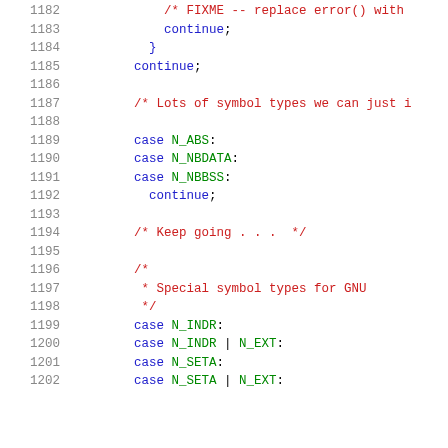Source code listing, lines 1182-1202, showing C code with switch-case statements for symbol types N_ABS, N_NBDATA, N_NBBSS, N_INDR, N_SETA and their N_EXT variants, with comments about FIXME, Lots of symbol types, Keep going, and Special symbol types for GNU.